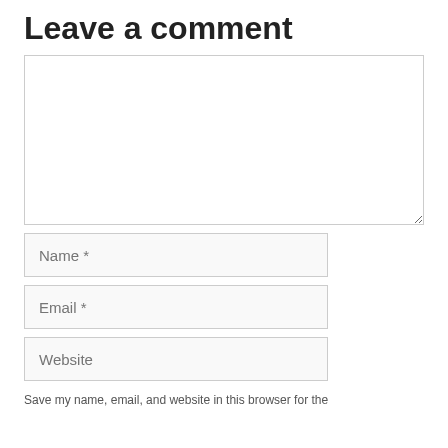Leave a comment
[Figure (screenshot): A web comment form with a large textarea, Name field, Email field, Website field, and a partial line of text reading 'Save my name, email, and website in this browser for the']
Save my name, email, and website in this browser for the